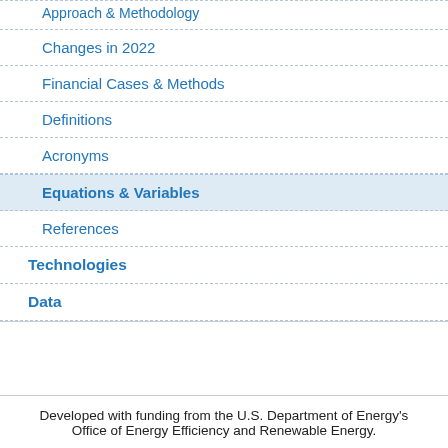Approach & Methodology
Changes in 2022
Financial Cases & Methods
Definitions
Acronyms
Equations & Variables
References
Technologies
Data
Developed with funding from the U.S. Department of Energy's Office of Energy Efficiency and Renewable Energy.